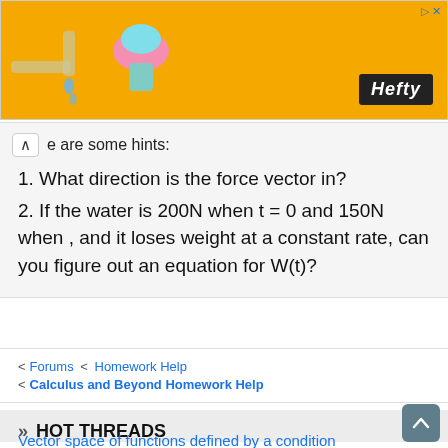[Figure (photo): Orange advertisement banner for Hefty brand with a cartoon toy graphic on the left and Hefty logo on the right]
e are some hints:
1. What direction is the force vector in?
2. If the water is 200N when t = 0 and 150N when , and it loses weight at a constant rate, can you figure out an equation for W(t)?
< Forums < Homework Help
< Calculus and Beyond Homework Help
» HOT THREADS
Vector space of functions defined by a condition